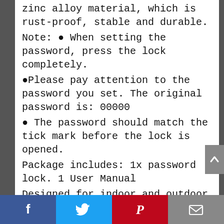zinc alloy material, which is rust-proof, stable and durable.
Note: ● When setting the password, press the lock completely.
●Please pay attention to the password you set. The original password is: 00000
● The password should match the tick mark before the lock is opened.
Package includes: 1x password lock. 1 User Manual
Designed for indoor and outdoor use: Suitable for schools, gyms and sports lockers, cabinets, tool cases, luggage, bicycles, fences, travel, etc.
[Social share bar: Facebook, Twitter, Pinterest, Email]